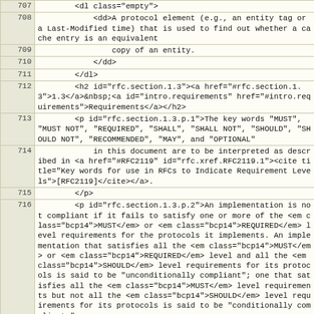| line | code |
| --- | --- |
| 707 |         <dl class="empty"> |
| 708 |             <dd>A protocol element (e.g., an entity tag or a Last-Modified time) that is used to find out whether a cache entry is an equivalent |
| 709 |                 copy of an entity. |
| 710 |             </dd> |
| 711 |         </dl> |
| 712 |         <h2 id="rfc.section.1.3"><a href="#rfc.section.1.3">1.3</a>&nbsp;<a id="intro.requirements" href="#intro.requirements">Requirements</a></h2> |
| 713 |         <p id="rfc.section.1.3.p.1">The key words "MUST", "MUST NOT", "REQUIRED", "SHALL", "SHALL NOT", "SHOULD", "SHOULD NOT", "RECOMMENDED", "MAY", and "OPTIONAL" |
| 714 |             in this document are to be interpreted as described in <a href="#RFC2119" id="rfc.xref.RFC2119.1"><cite title="Key words for use in RFCs to Indicate Requirement Levels">[RFC2119]</cite></a>. |
| 715 |         </p> |
| 716 |         <p id="rfc.section.1.3.p.2">An implementation is not compliant if it fails to satisfy one or more of the <em class="bcp14">MUST</em> or <em class="bcp14">REQUIRED</em> level requirements for the protocols it implements. An implementation that satisfies all the <em class="bcp14">MUST</em> or <em class="bcp14">REQUIRED</em> level and all the <em class="bcp14">SHOULD</em> level requirements for its protocols is said to be "unconditionally compliant"; one that satisfies all the <em class="bcp14">MUST</em> level requirements but not all the <em class="bcp14">SHOULD</em> level requirements for its protocols is said to be "conditionally compliant." |
| 717 |         </p> |
| 718 |         <h1 id="rfc.section.2"><a href="#rfc.section.2">2.</a>&nbsp;<a id="notation" href="#notation">Notational Conventions and Generic Grammar</a></h1> |